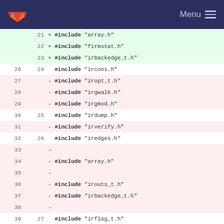GitLab Menu
| old | new | code |
| --- | --- | --- |
|  | 21 | + #include "array.h" |
|  | 22 | + #include "firmstat.h" |
|  | 23 | + #include "irbackedge_t.h" |
| 26 | 24 |   #include "ircons.h" |
| 27 |  | - #include "iropt_t.h" |
| 28 |  | - #include "irgwalk.h" |
| 29 |  | - #include "irgmod.h" |
| 30 | 25 |   #include "irdump.h" |
| 31 |  | - #include "irverify.h" |
| 32 | 26 |   #include "iredges.h" |
| 33 |  | - |
| 34 |  | - #include "array.h" |
| 35 |  | - |
| 36 |  | - #include "irouts_t.h" |
| 37 |  | - #include "irbackedge_t.h" |
| 38 |  | - |
| 39 | 27 |   #include "irflag_t.h" |
| 40 |  | - #include "firmstat.h" |
|  | 28 | + #include "irgmod.h" |
Imprint